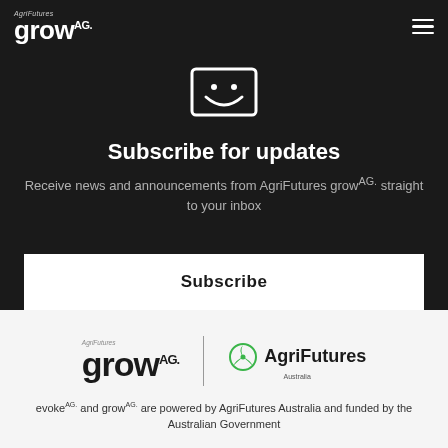[Figure (logo): AgriFutures growAG logo in white on dark background, top left. Hamburger menu icon top right.]
[Figure (illustration): White outline icon of an envelope with a smile/curve at bottom, on dark background]
Subscribe for updates
Receive news and announcements from AgriFutures growAG. straight to your inbox
Subscribe
[Figure (logo): AgriFutures growAG logo (large black text) and AgriFutures Australia logo with green circular icon, on light grey background]
evokeAG. and growAG. are powered by AgriFutures Australia and funded by the Australian Government